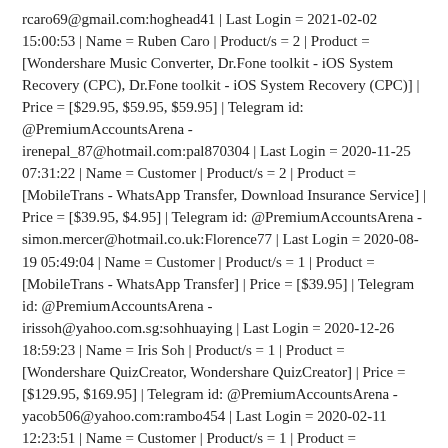rcaro69@gmail.com:hoghead41 | Last Login = 2021-02-02 15:00:53 | Name = Ruben Caro | Product/s = 2 | Product = [Wondershare Music Converter, Dr.Fone toolkit - iOS System Recovery (CPC), Dr.Fone toolkit - iOS System Recovery (CPC)] | Price = [$29.95, $59.95, $59.95] | Telegram id: @PremiumAccountsArena -
irenepal_87@hotmail.com:pal870304 | Last Login = 2020-11-25 07:31:22 | Name = Customer | Product/s = 2 | Product = [MobileTrans - WhatsApp Transfer, Download Insurance Service] | Price = [$39.95, $4.95] | Telegram id: @PremiumAccountsArena -
simon.mercer@hotmail.co.uk:Florence77 | Last Login = 2020-08-19 05:49:04 | Name = Customer | Product/s = 1 | Product = [MobileTrans - WhatsApp Transfer] | Price = [$39.95] | Telegram id: @PremiumAccountsArena -
irissoh@yahoo.com.sg:sohhuaying | Last Login = 2020-12-26 18:59:23 | Name = Iris Soh | Product/s = 1 | Product = [Wondershare QuizCreator, Wondershare QuizCreator] | Price = [$129.95, $169.95] | Telegram id: @PremiumAccountsArena -
yacob506@yahoo.com:rambo454 | Last Login = 2020-02-11 12:23:51 | Name = Customer | Product/s = 1 | Product = [MobileTrans - WhatsA...